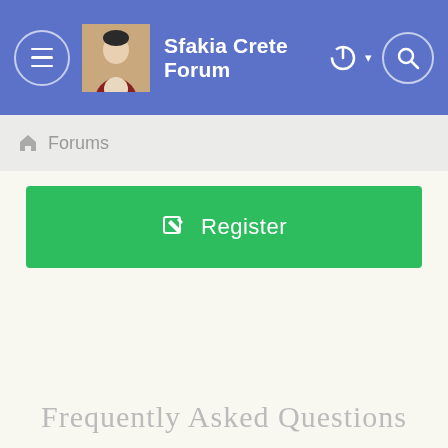Sfakia Crete Forum
Forums
Register
Frequently Asked Questions